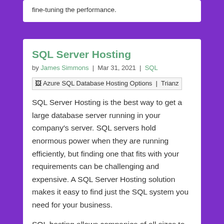fine-tuning the performance.
SQL Server Hosting
by James Simmons | Mar 31, 2021 | SQL
[Figure (other): Azure SQL Database Hosting Options | Trianz — broken image placeholder]
SQL Server Hosting is the best way to get a large database server running in your company's server. SQL servers hold enormous power when they are running efficiently, but finding one that fits with your requirements can be challenging and expensive. A SQL Server Hosting solution makes it easy to find just the SQL system you need for your business.
SQL hosting allows companies of all sizes to connect to the same powerful database. This means that any company's data, including the